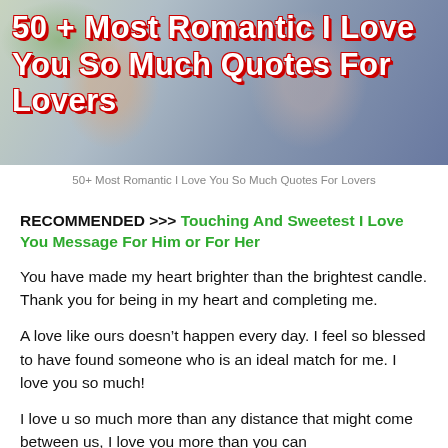[Figure (photo): Couple holding hands romantically with floral background, overlaid with bold white text with red outline reading '50 + Most Romantic i Love You So Much Quotes For Lovers']
50+ Most Romantic I Love You So Much Quotes For Lovers
RECOMMENDED >>> Touching And Sweetest I Love You Message For Him or For Her
You have made my heart brighter than the brightest candle. Thank you for being in my heart and completing me.
A love like ours doesn't happen every day. I feel so blessed to have found someone who is an ideal match for me. I love you so much!
I love u so much more than any distance that might come between us, I love you more than you can imagine, I love you so much.